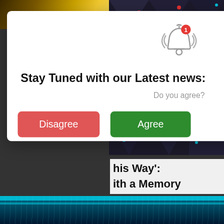[Figure (screenshot): Background behind modal showing partial colorful abstract image top-left and top-right, and a dark shower/water scene at the bottom]
[Figure (screenshot): Modal dialog popup with bell icon, title 'Stay Tuned with our Latest news:', subtitle 'Do you agree?', and two buttons: red 'Disagree' and green 'Agree']
Stay Tuned with our Latest news:
Do you agree?
Disagree
Agree
is Way':
ith a Memory